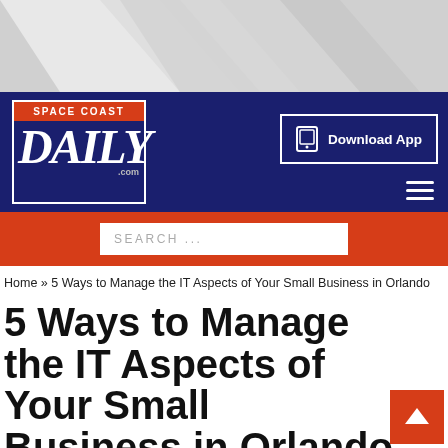[Figure (screenshot): Gray geometric hero banner background with diagonal shapes]
Space Coast Daily - Download App
SEARCH ...
Home » 5 Ways to Manage the IT Aspects of Your Small Business in Orlando
5 Ways to Manage the IT Aspects of Your Small Business in Orlando